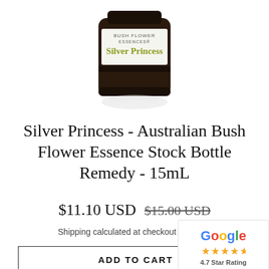[Figure (photo): Dark brown glass bottle of Silver Princess Australian Bush Flower Essence, with a white and olive-green label reading 'Silver Princess'. Bottle has a black cap. Reflection visible below.]
Silver Princess - Australian Bush Flower Essence Stock Bottle Remedy - 15mL
$11.10 USD  $15.00 USD
Shipping calculated at checkout
ADD TO CART
[Figure (logo): Google badge showing 'Google' logo in multicolor and '4.7 Star Rating' with gold stars]